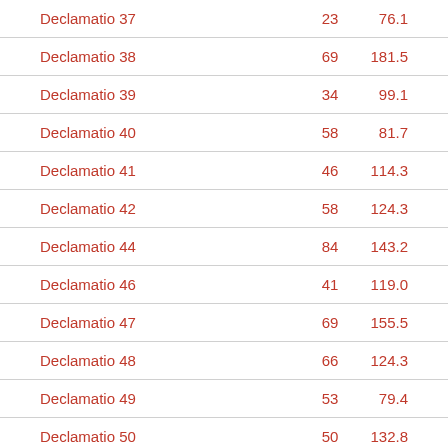| Declamatio 37 | 23 | 76.1 |
| Declamatio 38 | 69 | 181.5 |
| Declamatio 39 | 34 | 99.1 |
| Declamatio 40 | 58 | 81.7 |
| Declamatio 41 | 46 | 114.3 |
| Declamatio 42 | 58 | 124.3 |
| Declamatio 44 | 84 | 143.2 |
| Declamatio 46 | 41 | 119.0 |
| Declamatio 47 | 69 | 155.5 |
| Declamatio 48 | 66 | 124.3 |
| Declamatio 49 | 53 | 79.4 |
| Declamatio 50 | 50 | 132.8 |
| Declamatio 51 | 13 | 120.4 |